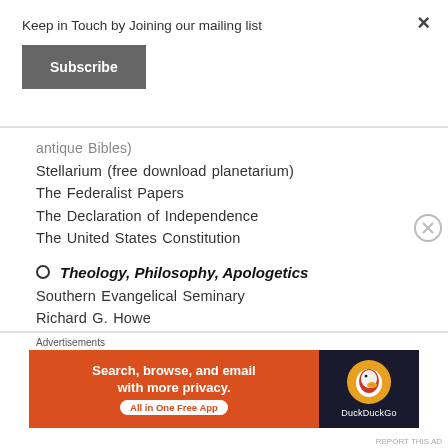Keep in Touch by Joining our mailing list
Subscribe
antique Bibles)
Stellarium (free download planetarium)
The Federalist Papers
The Declaration of Independence
The United States Constitution
Theology, Philosophy, Apologetics
Southern Evangelical Seminary
Richard G. Howe
Advertisements
[Figure (screenshot): DuckDuckGo advertisement banner: Search, browse, and email with more privacy. All in One Free App]